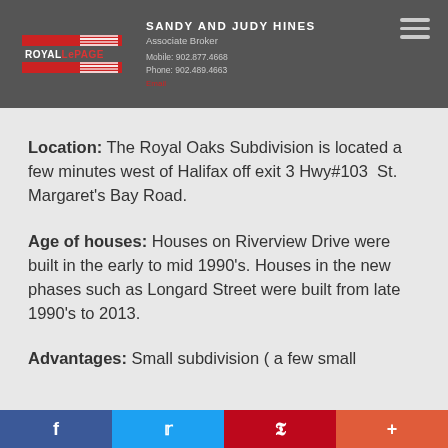SANDY AND JUDY HINES | Associate Broker | Mobile: 902.877.4668 | Phone: 902.489.4663
Location: The Royal Oaks Subdivision is located a few minutes west of Halifax off exit 3 Hwy#103  St. Margaret's Bay Road.
Age of houses: Houses on Riverview Drive were built in the early to mid 1990's. Houses in the new phases such as Longard Street were built from late 1990's to 2013.
Advantages: Small subdivision ( a few small streets) of single lots...